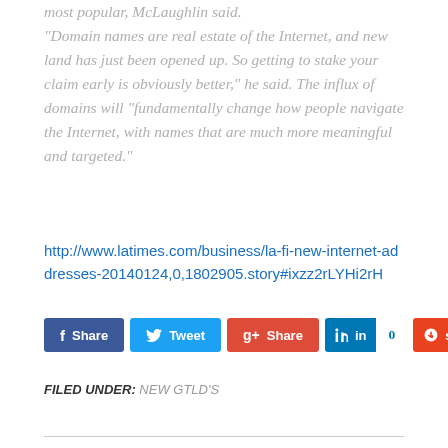most popular, McLaughlin said. “Domain names are real estate of the Internet, and new land has just been opened up. So getting to stake your claim early is obviously better,” he said. The influx of domains will “fundamentally change how people navigate the Internet, with names that are much more meaningful and targeted.”
http://www.latimes.com/business/la-fi-new-internet-addresses-20140124,0,1802905.story#ixzz2rLYHi2rH
[Figure (other): Social sharing buttons: Facebook Share, Twitter Tweet, Google+ Share, LinkedIn with count 0, StumbleUpon with count 0]
FILED UNDER: NEW GTLD'S